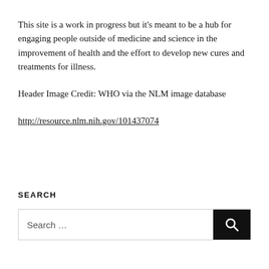This site is a work in progress but it's meant to be a hub for engaging people outside of medicine and science in the improvement of health and the effort to develop new cures and treatments for illness.
Header Image Credit: WHO via the NLM image database
http://resource.nlm.nih.gov/101437074
SEARCH